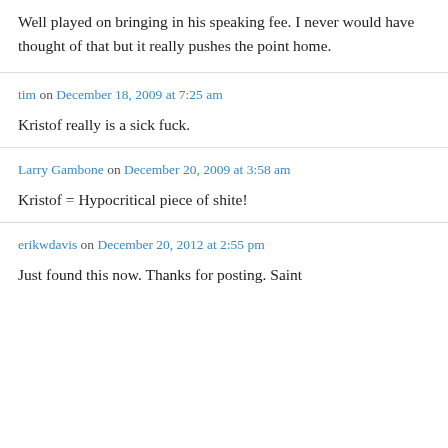Well played on bringing in his speaking fee. I never would have thought of that but it really pushes the point home.
tim on December 18, 2009 at 7:25 am
Kristof really is a sick fuck.
Larry Gambone on December 20, 2009 at 3:58 am
Kristof = Hypocritical piece of shite!
erikwdavis on December 20, 2012 at 2:55 pm
Just found this now. Thanks for posting. Saint